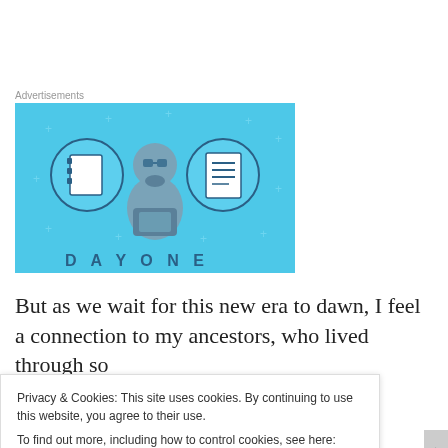Advertisements
[Figure (illustration): Advertisement banner with light blue background showing a cartoon person holding a phone, flanked by two circular icons depicting a notebook and a list/document, with large letters spelling DAY ONE at the bottom]
But as we wait for this new era to dawn, I feel a connection to my ancestors, who lived through so
Privacy & Cookies: This site uses cookies. By continuing to use this website, you agree to their use.
To find out more, including how to control cookies, see here: Cookie Policy
Close and accept